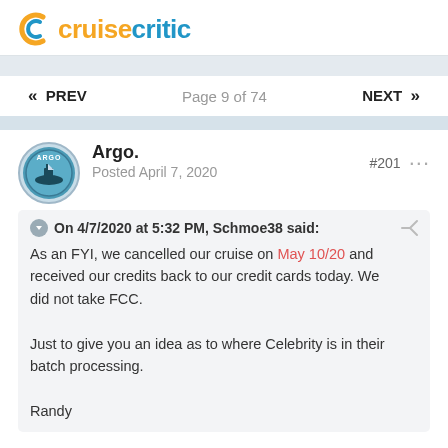cruisecritic
« PREV   Page 9 of 74   NEXT »
Argo.
Posted April 7, 2020
#201
On 4/7/2020 at 5:32 PM, Schmoe38 said:

As an FYI, we cancelled our cruise on May 10/20 and received our credits back to our credit cards today. We did not take FCC.

Just to give you an idea as to where Celebrity is in their batch processing.

Randy